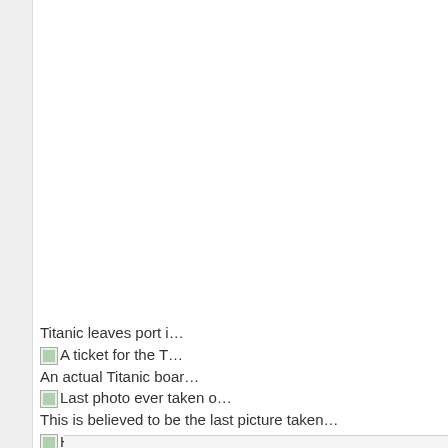Titanic leaves port i…
[img] A ticket for the T…
An actual Titanic boar…
[img] Last photo ever taken o…
This is believed to be the last picture taken…
[img] Hitlers pants after assasi…
Adolf Hitler's pants after the failed assassinati…
[img] First Computer ev…
The ENIAC, the first comp…
[img] JFK and caroline kennedy…
John F. Kennedy has a tea party ^ k…